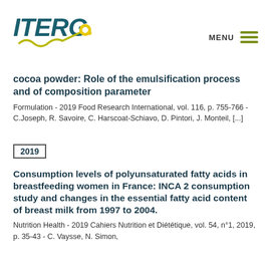[Figure (logo): ITERG logo with stylized yellow squiggle line and yellow key icon, dark teal bold italic text 'ITERG']
MENU
cocoa powder: Role of the emulsification process and of composition parameter
Formulation - 2019 Food Research International, vol. 116, p. 755-766 - C.Joseph, R. Savoire, C. Harscoat-Schiavo, D. Pintori, J. Monteil, [...]
2019
Consumption levels of polyunsaturated fatty acids in breastfeeding women in France: INCA 2 consumption study and changes in the essential fatty acid content of breast milk from 1997 to 2004.
Nutrition Health - 2019 Cahiers Nutrition et Diététique, vol. 54, n°1, 2019, p. 35-43 - C. Vaysse, N. Simon,